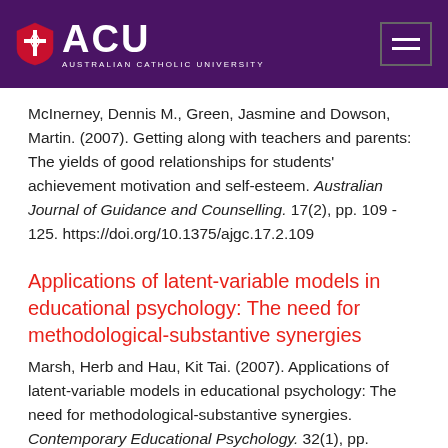[Figure (logo): ACU Australian Catholic University logo on purple header bar with hamburger menu button]
McInerney, Dennis M., Green, Jasmine and Dowson, Martin. (2007). Getting along with teachers and parents: The yields of good relationships for students' achievement motivation and self-esteem. Australian Journal of Guidance and Counselling. 17(2), pp. 109 - 125. https://doi.org/10.1375/ajgc.17.2.109
Applications of latent-variable models in educational psychology: The need for methodological-substantive synergies
Marsh, Herb and Hau, Kit Tai. (2007). Applications of latent-variable models in educational psychology: The need for methodological-substantive synergies. Contemporary Educational Psychology. 32(1), pp.